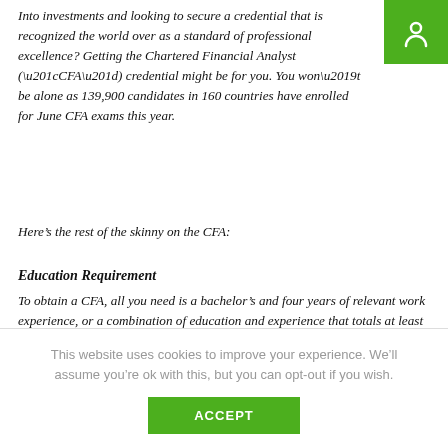Into investments and looking to secure a credential that is recognized the world over as a standard of professional excellence? Getting the Chartered Financial Analyst (“CFA”) credential might be for you. You won’t be alone as 139,900 candidates in 160 countries have enrolled for June CFA exams this year.
Here’s the rest of the skinny on the CFA:
Education Requirement
To obtain a CFA, all you need is a bachelor’s and four years of relevant work experience, or a combination of education and experience that totals at least four years.
Professional Requirements
This website uses cookies to improve your experience. We’ll assume you’re ok with this, but you can opt-out if you wish.
ACCEPT